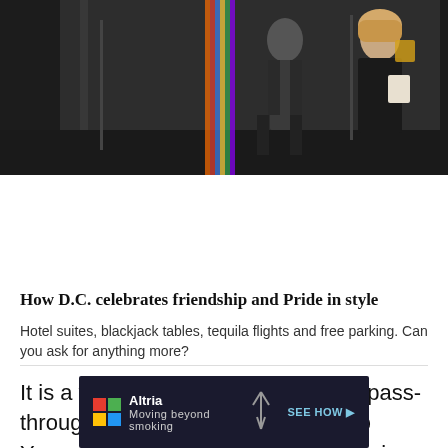The Washington Post
Democracy Dies in Darkness
[Figure (photo): People walking through what appears to be a hotel or event venue entrance, dressed in stylish clothing. One woman is prominent in a black dress.]
How D.C. celebrates friendship and Pride in style
Hotel suites, blackjack tables, tequila flights and free parking. Can you ask for anything more?
It is a working-class town and a flat pass-through place for tourists heading to Yosemite and the Sierras, which rise in the middle distance to the east, capped with snow now after a stormy winter. The West Side is the
[Figure (infographic): Altria advertisement: 'Moving beyond smoking' with SEE HOW button, dark background with colorful logo grid and stylized image]